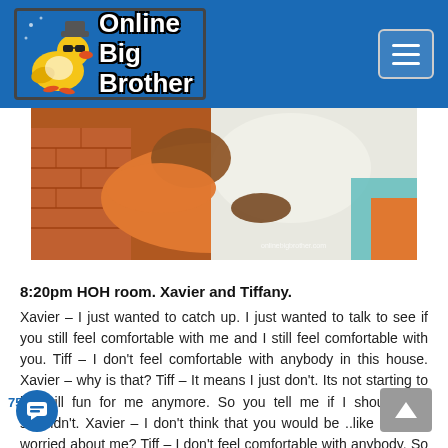Online Big Brother
[Figure (photo): Two people cuddling on a bed with orange and teal pillows, one person in an orange outfit, photo from onlinebigbrother.com]
8:20pm HOH room. Xavier and Tiffany.
Xavier – I just wanted to catch up. I just wanted to talk to see if you still feel comfortable with me and I still feel comfortable with you. Tiff – I don't feel comfortable with anybody in this house. Xavier – why is that? Tiff – It means I just don't. Its not starting to be still fun for me anymore. So you tell me if I should or I shouldn't. Xavier – I don't think that you would be ..like are you worried about me? Tiff – I don't feel comfortable with anybody. So I don't know if I should feel that way or I shouldn't. Nobody has talked to me about anything.. so that is interesting in itself. No one has anything to say to me..